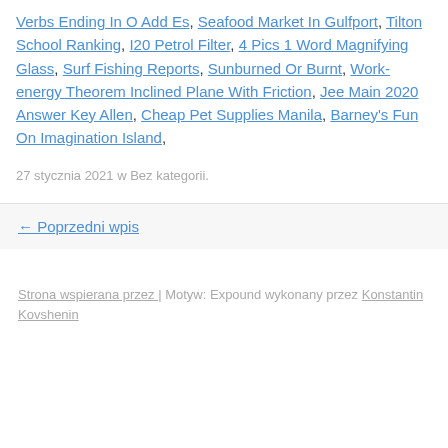Verbs Ending In O Add Es, Seafood Market In Gulfport, Tilton School Ranking, I20 Petrol Filter, 4 Pics 1 Word Magnifying Glass, Surf Fishing Reports, Sunburned Or Burnt, Work-energy Theorem Inclined Plane With Friction, Jee Main 2020 Answer Key Allen, Cheap Pet Supplies Manila, Barney's Fun On Imagination Island,
27 stycznia 2021 w Bez kategorii.
← Poprzedni wpis
Strona wspierana przez | Motyw: Expound wykonany przez Konstantin Kovshenin